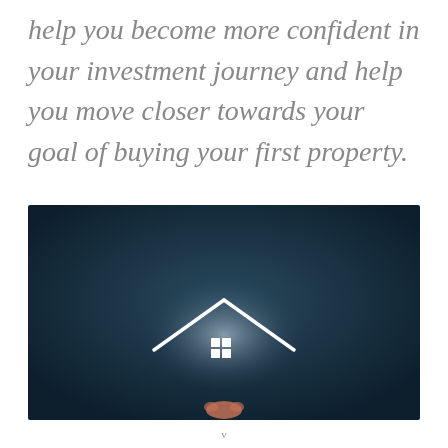help you become more confident in your investment journey and help you move closer towards your goal of buying your first property.
[Figure (photo): Dark blue-grey background photo showing a glowing white house icon (roof outline and window) held up by a hand from below, representing real estate investment.]
v